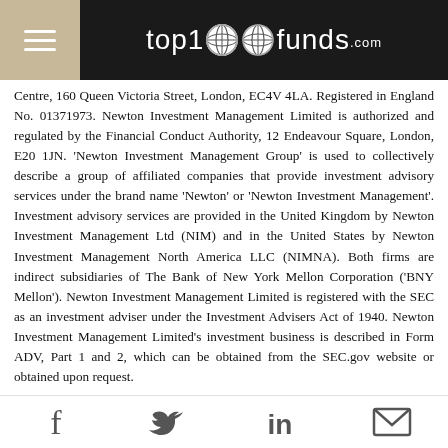top1000funds.com
Centre, 160 Queen Victoria Street, London, EC4V 4LA. Registered in England No. 01371973. Newton Investment Management Limited is authorized and regulated by the Financial Conduct Authority, 12 Endeavour Square, London, E20 1JN. ‘Newton Investment Management Group’ is used to collectively describe a group of affiliated companies that provide investment advisory services under the brand name ‘Newton’ or ‘Newton Investment Management’. Investment advisory services are provided in the United Kingdom by Newton Investment Management Ltd (NIM) and in the United States by Newton Investment Management North America LLC (NIMNA). Both firms are indirect subsidiaries of The Bank of New York Mellon Corporation (‘BNY Mellon’). Newton Investment Management Limited is registered with the SEC as an investment adviser under the Investment Advisers Act of 1940. Newton Investment Management Limited’s investment business is described in Form ADV, Part 1 and 2, which can be obtained from the SEC.gov website or obtained upon request.
Personnel of certain of our BNY Mellon affiliates may act as: (i) registered representatives of BNY Mellon Securities Corporation (in its capacity as a registered broker-dealer) to offer securities; (ii) officers of the Bank of New York
Social share icons: Facebook, Twitter, LinkedIn, Email